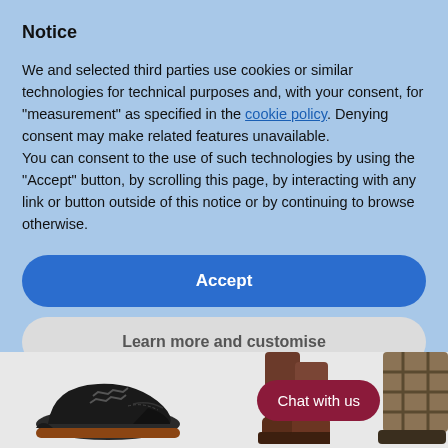Notice
We and selected third parties use cookies or similar technologies for technical purposes and, with your consent, for "measurement" as specified in the cookie policy. Denying consent may make related features unavailable.
You can consent to the use of such technologies by using the "Accept" button, by scrolling this page, by interacting with any link or button outside of this notice or by continuing to browse otherwise.
Accept
Learn more and customise
[Figure (photo): Bottom section of a shoe retailer website showing a black leather brogue shoe on the left, brown tall boots in the middle, and a patterned boot on the right, with a dark red 'Chat with us' button overlay]